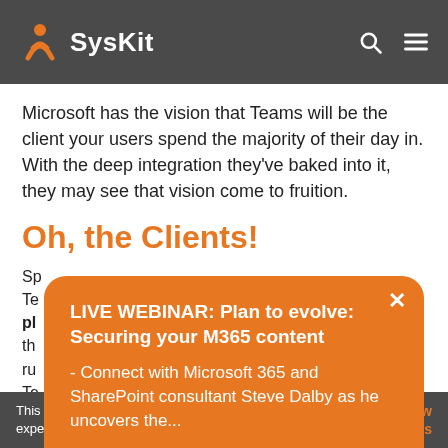SysKit
Microsoft has the vision that Teams will be the client your users spend the majority of their day in. With the deep integration they've baked into it, they may see that vision come to fruition.
Oh, the Clients!
LIVE WEBINAR: Plan to evolve: Securing your M365 content
- Connect with Microsoft 365 and SharePoint consultant Steve Dalby as he uncovers the...
Save your spot
This website makes use of cookies to enhance browsing experience and provide additional functionality. Details  Allow cookies